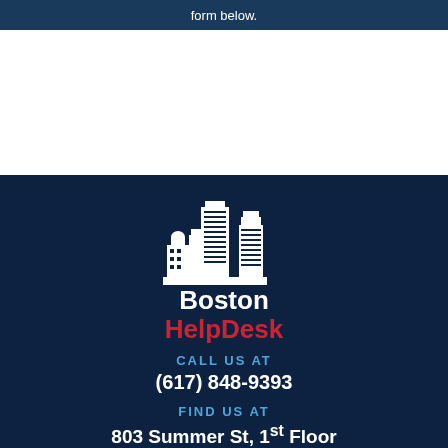form below.
[Figure (logo): Boston HelpDesk logo with city skyline silhouette in white on dark navy background, with 'Boston' in white bold text and 'HelpDesk' in red bold text]
CALL US AT
(617) 848-9393
FIND US AT
803 Summer St, 1st Floor